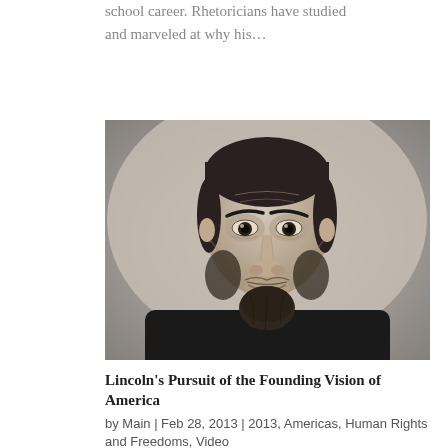school career. Rhetoricians have studied and marveled at why his…
[Figure (photo): Black and white portrait photograph of Abraham Lincoln]
Lincoln's Pursuit of the Founding Vision of America
by Main | Feb 28, 2013 | 2013, Americas, Human Rights and Freedoms, Video